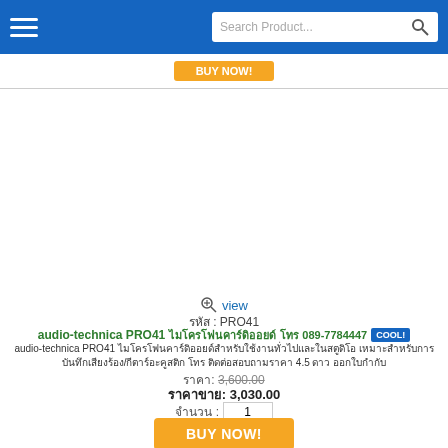Search Product...
รหัส : PRO41
audio-technica PRO41 ไมโครโฟนคาร์ดิออยด์ โทร 089-7784447 COOL!
audio-technica PRO41 ไมโครโฟนคาร์ดิออยด์สำหรับใช้งานทั่วไปและในสตูดิโอ เหมาะสำหรับการบันทึกเสียงร้อง/กีตาร์อะคูสติก โทร ติดต่อสอบถามราคา 4.5 ดาว ออกใบกำกับ
ราคา: 3,600.00
ราคาขาย: 3,030.00
จำนวน : 1
BUY NOW!
[Figure (photo): Microphone product image at bottom of page - audio-technica PRO41]